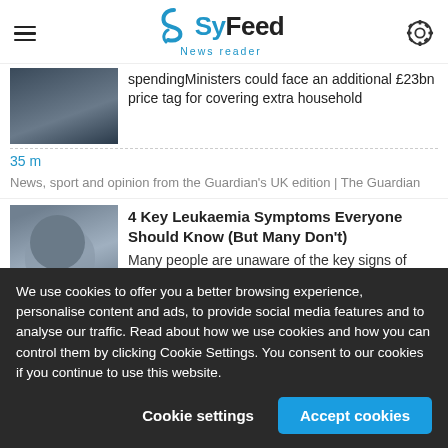SyFeed News reader
spendingMinisters could face an additional £23bn price tag for covering extra household
35 m
News, sport and opinion from the Guardian's UK edition | The Guardian
4 Key Leukaemia Symptoms Everyone Should Know (But Many Don't)
Many people are unaware of the key signs of leukaemia despite it being one of deadliest forms of cancer, a situation leading cancer
We use cookies to offer you a better browsing experience, personalise content and ads, to provide social media features and to analyse our traffic. Read about how we use cookies and how you can control them by clicking Cookie Settings. You consent to our cookies if you continue to use this website.
Cookie settings    Accept cookies